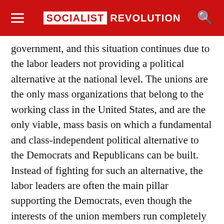SOCIALIST REVOLUTION
government, and this situation continues due to the labor leaders not providing a political alternative at the national level. The unions are the only mass organizations that belong to the working class in the United States, and are the only viable, mass basis on which a fundamental and class-independent political alternative to the Democrats and Republicans can be built. Instead of fighting for such an alternative, the labor leaders are often the main pillar supporting the Democrats, even though the interests of the union members run completely counter to the interests of Big Business and both bosses' parties. However, the accumulating discontent with unemployment, the attacks on labor, austerity measures, living wages and